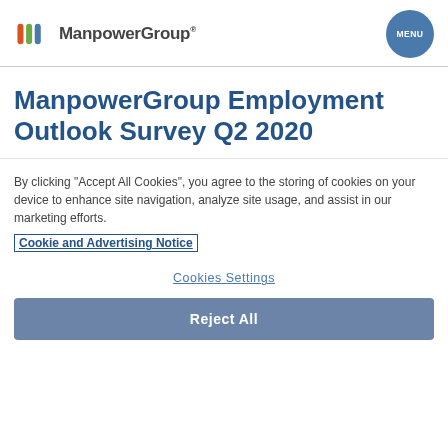ManpowerGroup | MENU
ManpowerGroup Employment Outlook Survey Q2 2020
By clicking “Accept All Cookies”, you agree to the storing of cookies on your device to enhance site navigation, analyze site usage, and assist in our marketing efforts.
Cookie and Advertising Notice
Cookies Settings
Reject All